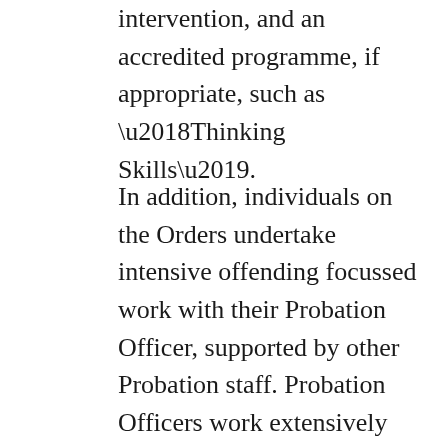intervention, and an accredited programme, if appropriate, such as ‘Thinking Skills’.
In addition, individuals on the Orders undertake intensive offending focussed work with their Probation Officer, supported by other Probation staff. Probation Officers work extensively on the requirement to undertake intensive offending focussed work with participants, exploring the impact of participants’ behaviour on victims, their family and the community. Evaluation (2017) found qualitative evidence suggesting that participants thought the order had helped them address their problems and the way